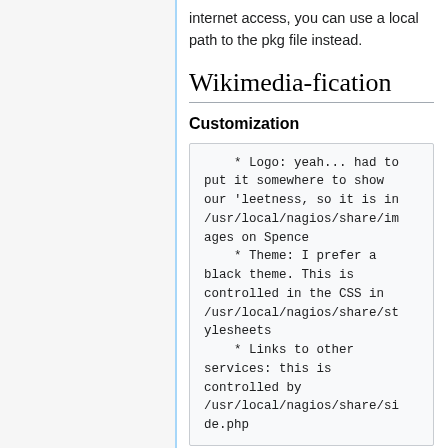internet access, you can use a local path to the pkg file instead.
Wikimedia-fication
Customization
* Logo: yeah... had to put it somewhere to show our 'leetness, so it is in /usr/local/nagios/share/images on Spence
    * Theme: I prefer a black theme. This is controlled in the CSS in /usr/local/nagios/share/stylesheets
    * Links to other services: this is controlled by /usr/local/nagios/share/side.php